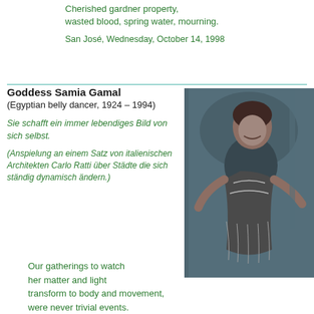Cherished gardner property,
wasted blood, spring water, mourning.
San José, Wednesday, October 14, 1998
Goddess Samia Gamal
(Egyptian belly dancer, 1924 – 1994)
Sie schafft ein immer lebendiges Bild von sich selbst.
(Anspielung an einem Satz von italienischen Architekten Carlo Ratti über Städte die sich ständig dynamisch ändern.)
[Figure (photo): Black and white photo of Samia Gamal, an Egyptian belly dancer, smiling and posing in costume]
Our gatherings to watch
her matter and light
transform to body and movement,
were never trivial events.
The to and fro of her body,
within time continuum,